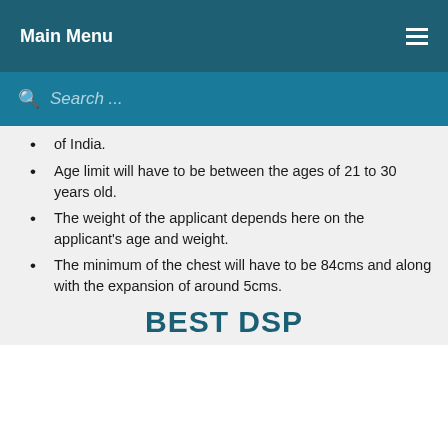Main Menu
Search ...
of India.
Age limit will have to be between the ages of 21 to 30 years old.
The weight of the applicant depends here on the applicant's age and weight.
The minimum of the chest will have to be 84cms and along with the expansion of around 5cms.
BEST DSP